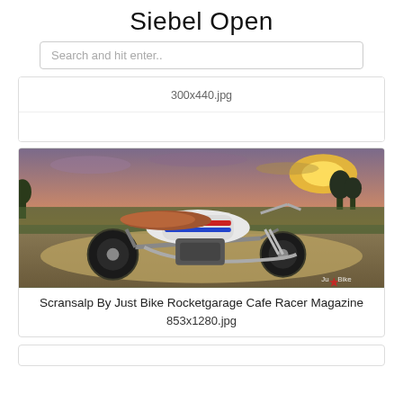Siebel Open
Search and hit enter..
300x440.jpg
[Figure (photo): A custom scrambler / cafe racer motorcycle photographed outdoors at sunset in a dusty field. The bike has a white tank with red and blue racing stripes, a brown leather seat, knobby tires, and chrome exhaust. A watermark 'Ju★Bike' appears in the lower right corner.]
Scransalp By Just Bike Rocketgarage Cafe Racer Magazine
853x1280.jpg